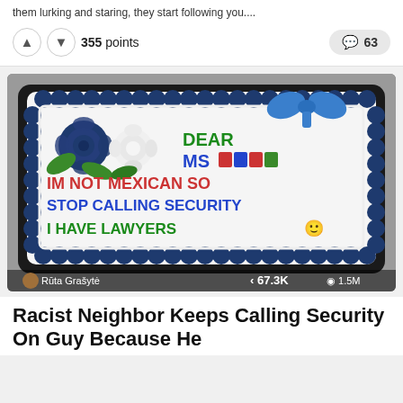them lurking and staring, they start following you....
355 points   63
[Figure (photo): A decorated sheet cake on a black tray with white frosting, navy blue scallop border, two roses (dark blue and white), green leaves, and a blue bow. The cake reads: DEAR MS [redacted] IM NOT MEXICAN SO STOP CALLING SECURITY I HAVE LAWYERS 🙂. Bottom overlay shows: Rūta Grašytė · 67.3K · 1.5M]
Racist Neighbor Keeps Calling Security On Guy Because He